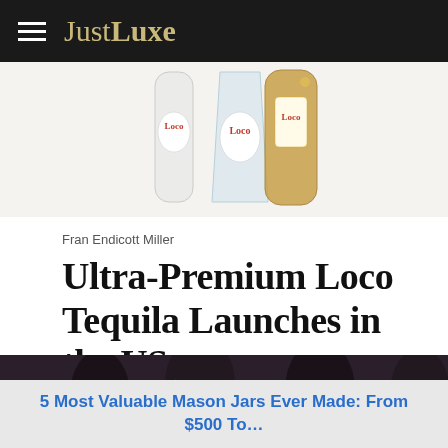JustLuxe
[Figure (photo): Loco Tequila bottles on a white surface — clear bottle and gold-colored bottle both labeled Loco]
Fran Endicott Miller
Ultra-Premium Loco Tequila Launches in the US
[Figure (photo): People clinking glasses at a celebration]
5 Most Valuable Mason Jars Ever Made: From $500 To…